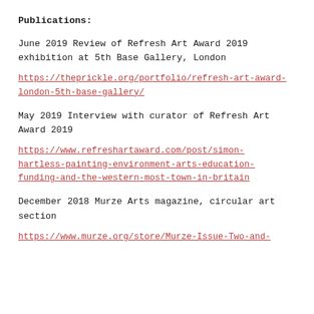Publications:
June 2019 Review of Refresh Art Award 2019 exhibition at 5th Base Gallery, London
https://theprickle.org/portfolio/refresh-art-award-london-5th-base-gallery/
May 2019 Interview with curator of Refresh Art Award 2019
https://www.refreshartaward.com/post/simon-hartless-painting-environment-arts-education-funding-and-the-western-most-town-in-britain
December 2018 Murze Arts magazine, circular art section
https://www.murze.org/store/Murze-Issue-Two-and-